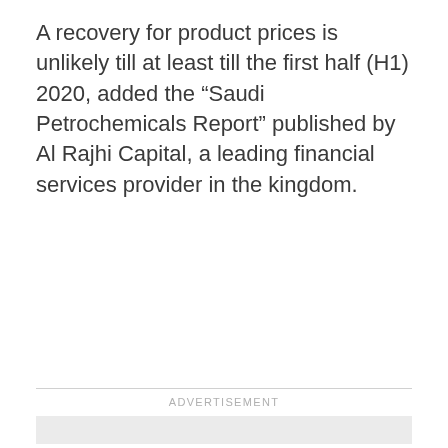A recovery for product prices is unlikely till at least till the first half (H1) 2020, added the “Saudi Petrochemicals Report” published by Al Rajhi Capital, a leading financial services provider in the kingdom.
[Figure (other): Advertisement placeholder box with 'ADVERTISEMENT' label above a light grey rectangle]